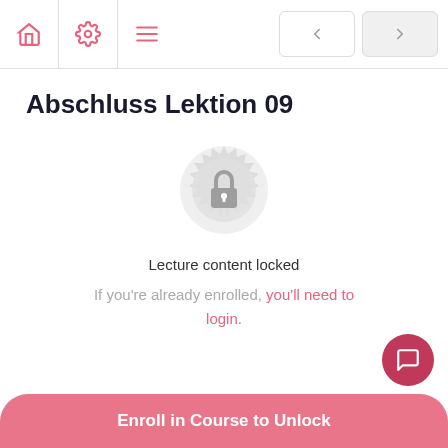Navigation bar with home, settings, menu icons and prev/next buttons
Abschluss Lektion 09
[Figure (illustration): Lock icon inside a decorative circular badge, representing locked lecture content]
Lecture content locked
If you're already enrolled, you'll need to login.
Enroll in Course to Unlock